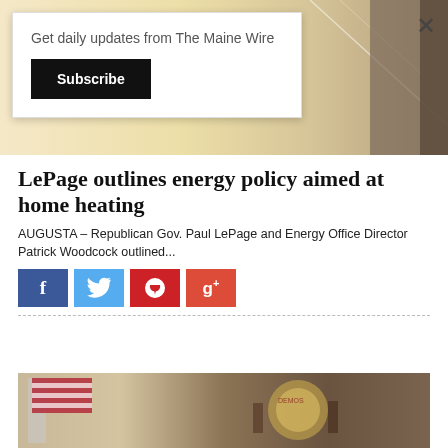[Figure (photo): Partial photo of a person, top portion visible with light background]
Get daily updates from The Maine Wire
Subscribe
LePage outlines energy policy aimed at home heating
AUGUSTA – Republican Gov. Paul LePage and Energy Office Director Patrick Woodcock outlined...
[Figure (infographic): Social share buttons: Facebook, Twitter, Pinterest, Google+]
[Figure (photo): Photo of person with American flag and Maine state seal in background]